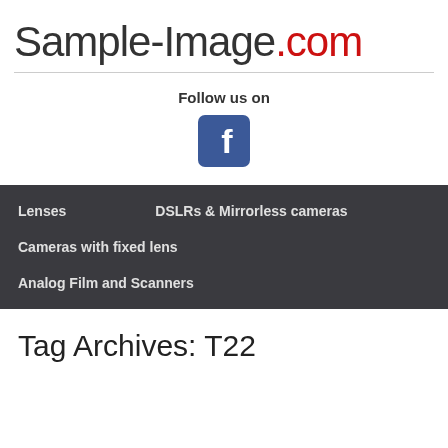Sample-Image.com
Follow us on
[Figure (logo): Facebook logo icon — blue rounded square with white 'f' letter]
Lenses
DSLRs & Mirrorless cameras
Cameras with fixed lens
Analog Film and Scanners
Tag Archives: T22